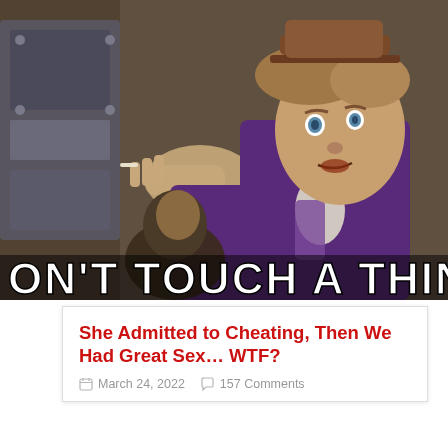[Figure (photo): Willy Wonka character (Gene Wilder) in purple jacket and brown hat, gesturing with finger, scene from Willy Wonka movie. Large meme text reads: ON'T TOUCH A THING! (partially cropped on left, full text: DON'T TOUCH A THING!)]
She Admitted to Cheating, Then We Had Great Sex… WTF?
March 24, 2022   157 Comments